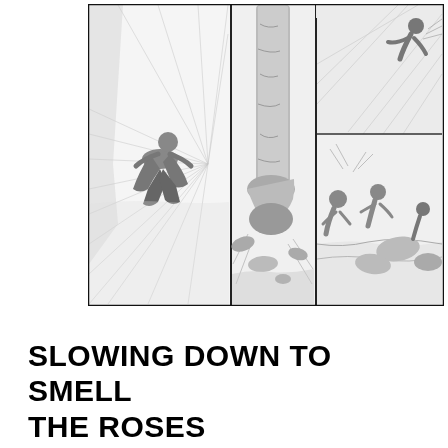[Figure (illustration): A manga/comic book style illustration divided into three vertical panels. Left panel shows a crouching muscular figure in a cave or tunnel with speed lines radiating outward. Middle panel shows a close-up of large rocky feet or legs with debris and rocks. Right panel shows a figure being launched or flying upward at the top, and below that more characters amid rocks and debris near water.]
SLOWING DOWN TO SMELL THE ROSES